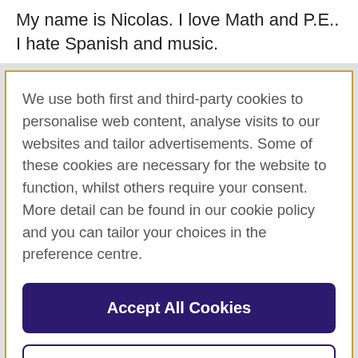My name is Nicolas. I love Math and P.E.. I hate Spanish and music.
We use both first and third-party cookies to personalise web content, analyse visits to our websites and tailor advertisements. Some of these cookies are necessary for the website to function, whilst others require your consent. More detail can be found in our cookie policy and you can tailor your choices in the preference centre.
Accept All Cookies
Cookies Settings